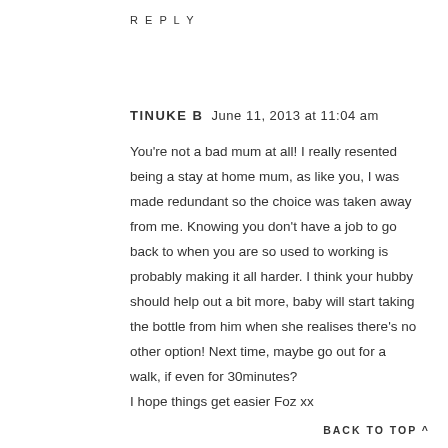REPLY
TINUKE B  June 11, 2013 at 11:04 am
You're not a bad mum at all! I really resented being a stay at home mum, as like you, I was made redundant so the choice was taken away from me. Knowing you don't have a job to go back to when you are so used to working is probably making it all harder. I think your hubby should help out a bit more, baby will start taking the bottle from him when she realises there's no other option! Next time, maybe go out for a walk, if even for 30minutes?
I hope things get easier Foz xx
BACK TO TOP ∧